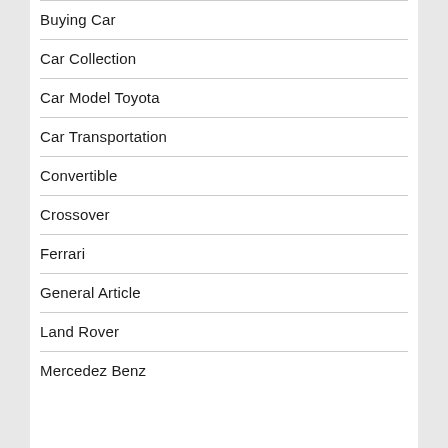Buying Car
Car Collection
Car Model Toyota
Car Transportation
Convertible
Crossover
Ferrari
General Article
Land Rover
Mercedez Benz